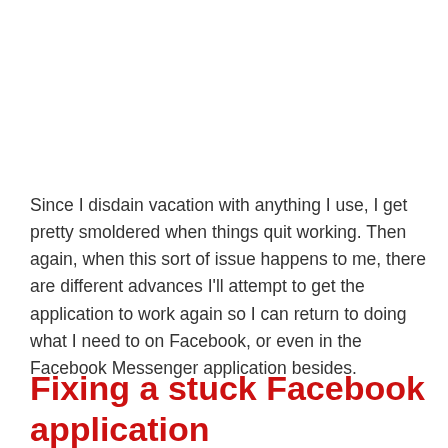Since I disdain vacation with anything I use, I get pretty smoldered when things quit working. Then again, when this sort of issue happens to me, there are different advances I'll attempt to get the application to work again so I can return to doing what I need to on Facebook, or even in the Facebook Messenger application besides.
Fixing a stuck Facebook application